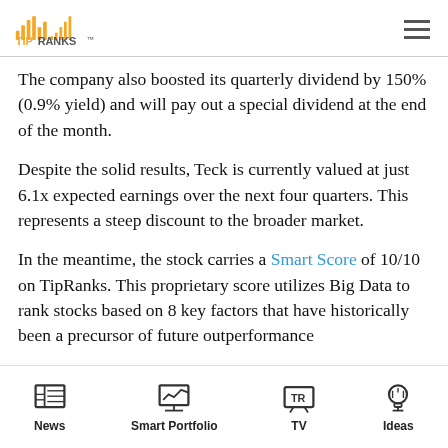TipRanks
The company also boosted its quarterly dividend by 150% (0.9% yield) and will pay out a special dividend at the end of the month.
Despite the solid results, Teck is currently valued at just 6.1x expected earnings over the next four quarters. This represents a steep discount to the broader market.
In the meantime, the stock carries a Smart Score of 10/10 on TipRanks. This proprietary score utilizes Big Data to rank stocks based on 8 key factors that have historically been a precursor of future outperformance
News | Smart Portfolio | TV | Ideas